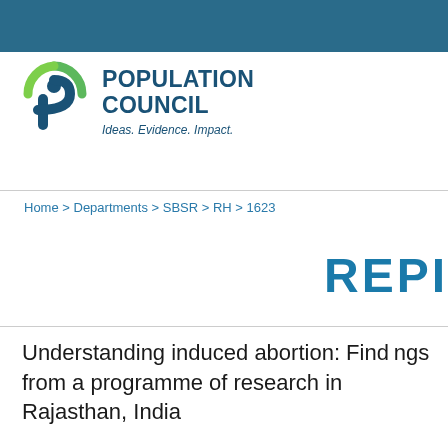[Figure (logo): Population Council logo with green arc and blue person figure, alongside text 'POPULATION COUNCIL — Ideas. Evidence. Impact.']
Home > Departments > SBSR > RH > 1623
REPI
Understanding induced abortion: Findings from a programme of research in Rajasthan, India